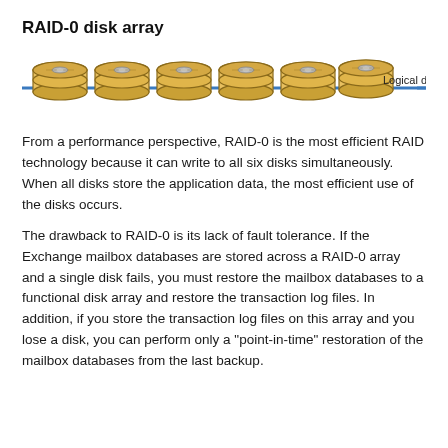RAID-0 disk array
[Figure (schematic): Six stacked disk icons connected by a horizontal blue line representing a RAID-0 disk array. The line is labeled 'Logical d: drive' on the right side.]
From a performance perspective, RAID-0 is the most efficient RAID technology because it can write to all six disks simultaneously. When all disks store the application data, the most efficient use of the disks occurs.
The drawback to RAID-0 is its lack of fault tolerance. If the Exchange mailbox databases are stored across a RAID-0 array and a single disk fails, you must restore the mailbox databases to a functional disk array and restore the transaction log files. In addition, if you store the transaction log files on this array and you lose a disk, you can perform only a "point-in-time" restoration of the mailbox databases from the last backup.